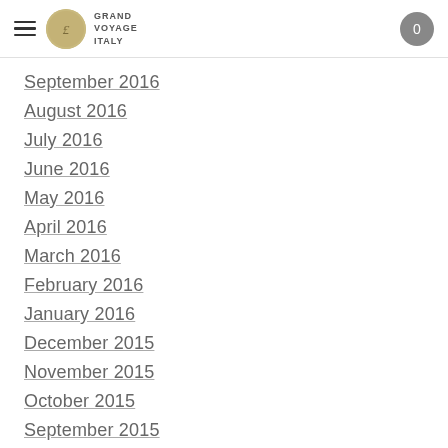Grand Voyage Italy
September 2016
August 2016
July 2016
June 2016
May 2016
April 2016
March 2016
February 2016
January 2016
December 2015
November 2015
October 2015
September 2015
August 2015